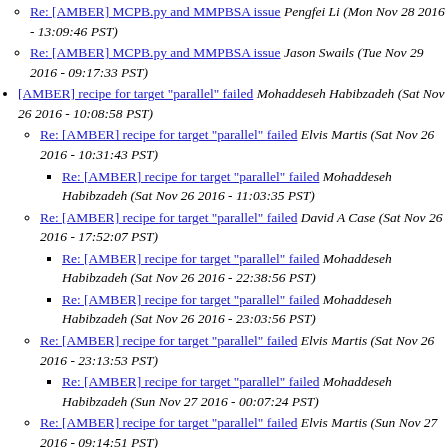Re: [AMBER] MCPB.py and MMPBSA issue Pengfei Li (Mon Nov 28 2016 - 13:09:46 PST)
Re: [AMBER] MCPB.py and MMPBSA issue Jason Swails (Tue Nov 29 2016 - 09:17:33 PST)
[AMBER] recipe for target "parallel" failed Mohaddeseh Habibzadeh (Sat Nov 26 2016 - 10:08:58 PST)
Re: [AMBER] recipe for target "parallel" failed Elvis Martis (Sat Nov 26 2016 - 10:31:43 PST)
Re: [AMBER] recipe for target "parallel" failed Mohaddeseh Habibzadeh (Sat Nov 26 2016 - 11:03:35 PST)
Re: [AMBER] recipe for target "parallel" failed David A Case (Sat Nov 26 2016 - 17:52:07 PST)
Re: [AMBER] recipe for target "parallel" failed Mohaddeseh Habibzadeh (Sat Nov 26 2016 - 22:38:56 PST)
Re: [AMBER] recipe for target "parallel" failed Mohaddeseh Habibzadeh (Sat Nov 26 2016 - 23:03:56 PST)
Re: [AMBER] recipe for target "parallel" failed Elvis Martis (Sat Nov 26 2016 - 23:13:53 PST)
Re: [AMBER] recipe for target "parallel" failed Mohaddeseh Habibzadeh (Sun Nov 27 2016 - 00:07:24 PST)
Re: [AMBER] recipe for target "parallel" failed Elvis Martis (Sun Nov 27 2016 - 09:14:51 PST)